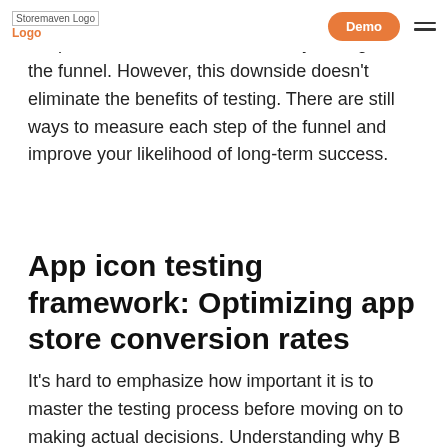Storemaven Logo | Demo | Menu
Since App icons appear in a variety of areas, it's not possible to test them coherently throughout the funnel. However, this downside doesn't eliminate the benefits of testing. There are still ways to measure each step of the funnel and improve your likelihood of long-term success.
App icon testing framework: Optimizing app store conversion rates
It's hard to emphasize how important it is to master the testing process before moving on to making actual decisions. Understanding why B outperformed A in a specific test will